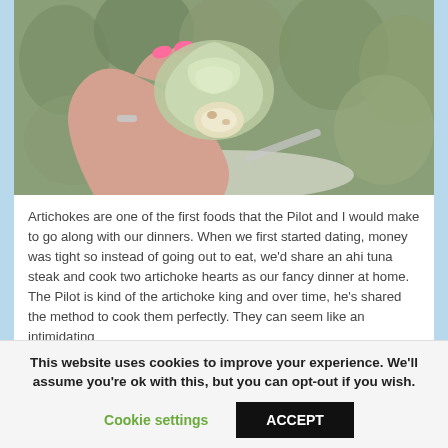[Figure (photo): A hand with pink nail polish holding up a cooked artichoke heart, with more artichoke hearts blurred in the background on a white plate.]
Artichokes are one of the first foods that the Pilot and I would make to go along with our dinners. When we first started dating, money was tight so instead of going out to eat, we'd share an ahi tuna steak and cook two artichoke hearts as our fancy dinner at home. The Pilot is kind of the artichoke king and over time, he's shared the method to cook them perfectly. They can seem like an intimidating
This website uses cookies to improve your experience. We'll assume you're ok with this, but you can opt-out if you wish.
Cookie settings
ACCEPT